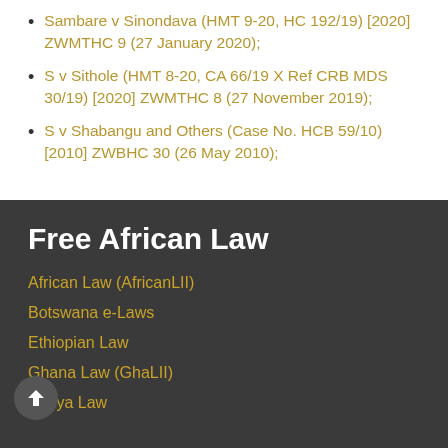Sambare v Sinondava (HMT 9-20, HC 192/19) [2020] ZWMTHC 9 (27 January 2020);
S v Sithole (HMT 8-20, CA 66/19 X Ref CRB MDS 30/19) [2020] ZWMTHC 8 (27 November 2019);
S v Shabangu and Others (Case No. HCB 59/10) [2010] ZWBHC 30 (26 May 2010);
Free African Law
African Law (AfricanLII)
Botswana e-Laws
Ethiopian Law
Ghana Law (GhaLII)
Kenya Law